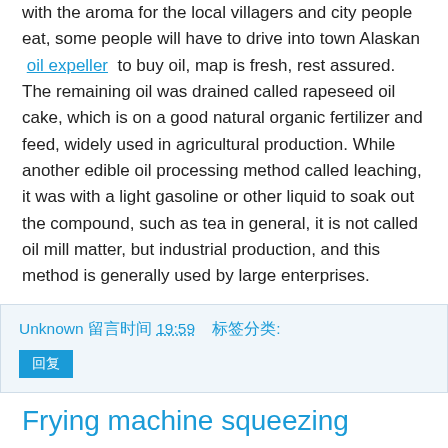with the aroma for the local villagers and city people eat, some people will have to drive into town Alaskan oil expeller to buy oil, map is fresh, rest assured. The remaining oil was drained called rapeseed oil cake, which is on a good natural organic fertilizer and feed, widely used in agricultural production. While another edible oil processing method called leaching, it was with a light gasoline or other liquid to soak out the compound, such as tea in general, it is not called oil mill matter, but industrial production, and this method is generally used by large enterprises.
Unknown 留言时间 19:59   标签分类:
回复
Frying machine squeezing process
In the press process, because the machine is automatic force day heat, the automatic temperature control device, Oil processing body temperature of the host, thereby